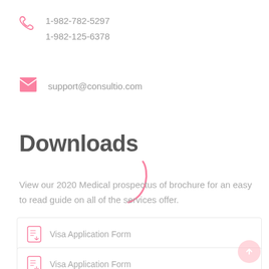1-982-782-5297
1-982-125-6378
support@consultio.com
Downloads
View our 2020 Medical prospectus of brochure for an easy to read guide on all of the services offer.
Visa Application Form
Visa Application Form